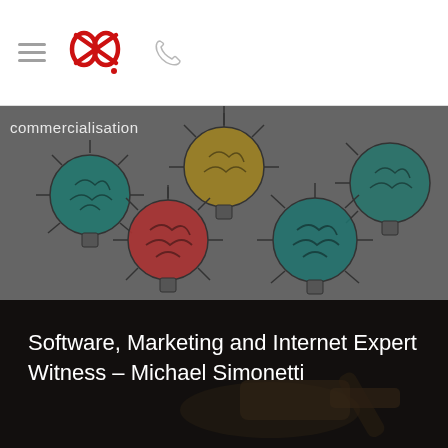[Figure (screenshot): Website navigation bar with hamburger menu icon, red scissors/loop logo (Amp&Co or similar), and a grey phone icon on white background]
[Figure (illustration): Grey background section showing colorful brain lightbulb illustrations - teal, gold/yellow, and red brain icons inside lightbulb outlines, with partial text 'commercialisation' visible at top left]
Software, Marketing and Internet Expert Witness – Michael Simonetti
[Figure (photo): Dark-toned photo of a judge's gavel being struck, seen from above, with hands visible in dark background]